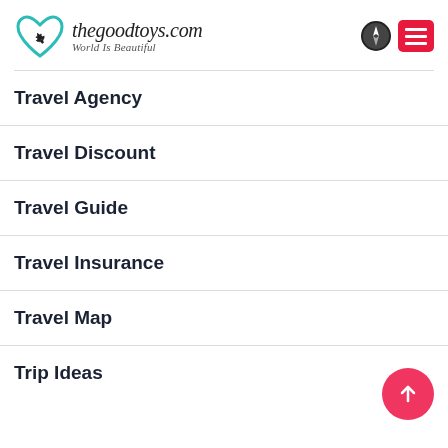thegoodtoys.com — World Is Beautiful
Travel Agency
Travel Discount
Travel Guide
Travel Insurance
Travel Map
Trip Ideas